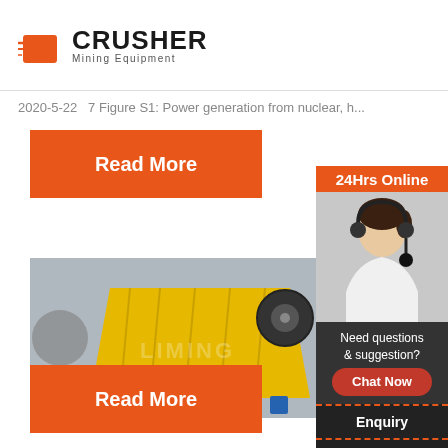[Figure (logo): Crusher Mining Equipment logo with red shopping bag icon and bold CRUSHER text]
2020-5-22   7 Figure S1: Power generation from nuclear, h...
Read More
[Figure (photo): Yellow industrial jaw crusher machine in a factory setting, watermarked LIMING]
ATOX mill – FLSmi
2019-3-1
Read More
[Figure (infographic): Right sidebar: 24Hrs Online banner, woman with headset customer service photo, Need questions & suggestion?, Chat Now button, Enquiry section, limingjlmofen@sina.com]